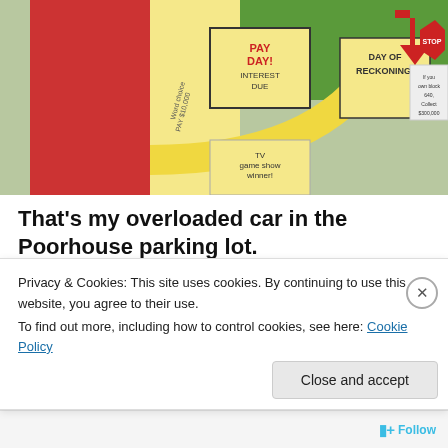[Figure (photo): Overhead photo of a Payday board game showing spaces including 'PAY DAY! INTEREST DUE', 'DAY OF RECKONING!', 'STOP', and 'TV game show winner!' with colorful board squares.]
That's my overloaded car in the Poorhouse parking lot.
This is an interesting lesson.
[Figure (screenshot): Thumbnail collage with light blue background showing phone/app screenshots with '05' labels and 'for life' text in white.]
Privacy & Cookies: This site uses cookies. By continuing to use this website, you agree to their use.
To find out more, including how to control cookies, see here: Cookie Policy
Close and accept